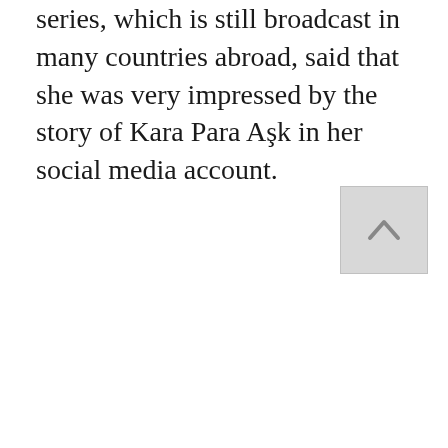series, which is still broadcast in many countries abroad, said that she was very impressed by the story of Kara Para Aşk in her social media account.
[Figure (other): A scroll-to-top button: a light gray square with an upward-pointing chevron/caret arrow in the center.]